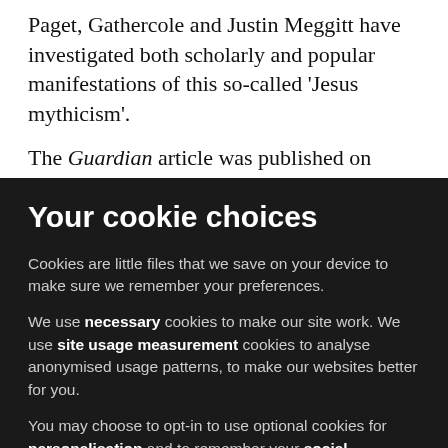Paget, Gathercole and Justin Meggitt have investigated both scholarly and popular manifestations of this so-called 'Jesus mythicism'.
The Guardian article was published on 14 April 2017. By Tuesday 18 April 2017, the article had received 1,162,000... with 48% from abroad and the UK 40%...
Your cookie choices
Cookies are little files that we save on your device to make sure we remember your preferences.
We use necessary cookies to make our site work. We use site usage measurement cookies to analyse anonymised usage patterns, to make our websites better for you.
You may choose to opt-in to use optional cookies for personalisation and to remember your social